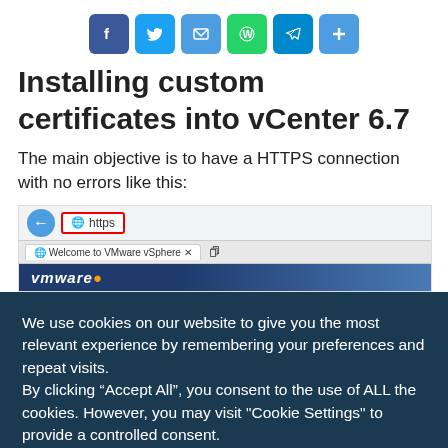[Figure (infographic): Social share buttons: Facebook, Twitter, Email, WhatsApp, Telegram, Plus/Share]
Installing custom certificates into vCenter 6.7
The main objective is to have a HTTPS connection with no errors like this:
[Figure (screenshot): Browser screenshot showing IE address bar with https highlighted in red, Welcome to VMware vSphere tab, and VMware blue header bar]
We use cookies on our website to give you the most relevant experience by remembering your preferences and repeat visits.
By clicking “Accept All”, you consent to the use of ALL the cookies. However, you may visit "Cookie Settings" to provide a controlled consent.
Cookie Settings   Accept All